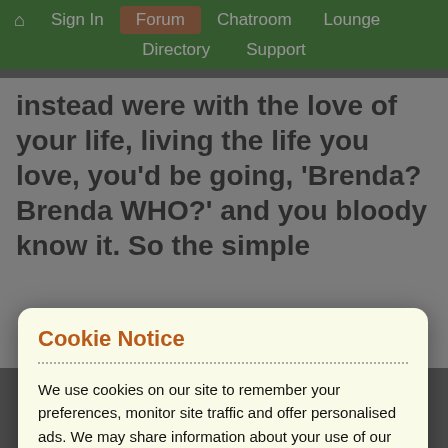🏠 Sign In | Forum | Chatroom | Lounge | Directory | Support
instead were with the love of your life, living the life you love, you'd be going, 'Brenda? Brenda WHO?' and you bloody know it. So the simple fact of the matter is this...
Cookie Notice
We use cookies on our site to remember your preferences, monitor site traffic and offer personalised ads. We may share information about your use of our site with trusted advertising and analytics partners. By clicking 'Accept and continue' you consent to our use of cookies in accordance with your preferences which can be reviewed / updated at any time via our Privacy Policy.
Accept and continue